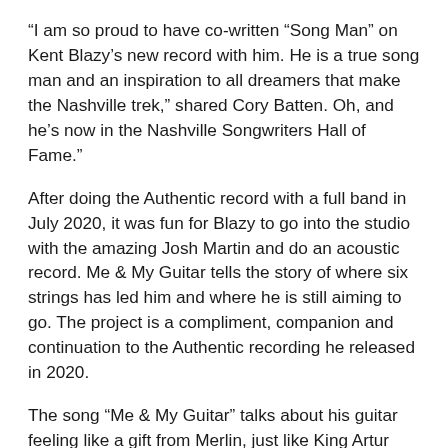“I am so proud to have co-written “Song Man” on Kent Blazy’s new record with him. He is a true song man and an inspiration to all dreamers that make the Nashville trek,” shared Cory Batten. Oh, and he’s now in the Nashville Songwriters Hall of Fame.”
After doing the Authentic record with a full band in July 2020, it was fun for Blazy to go into the studio with the amazing Josh Martin and do an acoustic record. Me & My Guitar tells the story of where six strings has led him and where he is still aiming to go. The project is a compliment, companion and continuation to the Authentic recording he released in 2020.
The song “Me & My Guitar” talks about his guitar feeling like a gift from Merlin, just like King Artur and his sword. “Merlin” was one of the first songs Kent felt he had written a good song. It came from reading The Once and Future King. He played it in bands and doing solo gigs, and fans started liking the song and other bands started playing it. When Kent was playing in Canada with Ian